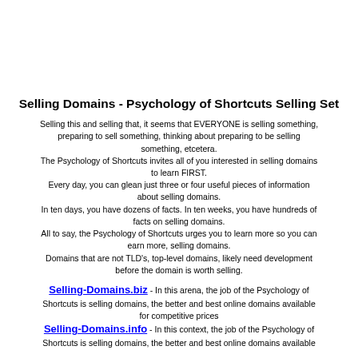Selling Domains - Psychology of Shortcuts Selling Set
Selling this and selling that, it seems that EVERYONE is selling something, preparing to sell something, thinking about preparing to be selling something, etcetera. The Psychology of Shortcuts invites all of you interested in selling domains to learn FIRST. Every day, you can glean just three or four useful pieces of information about selling domains. In ten days, you have dozens of facts. In ten weeks, you have hundreds of facts on selling domains. All to say, the Psychology of Shortcuts urges you to learn more so you can earn more, selling domains. Domains that are not TLD's, top-level domains, likely need development before the domain is worth selling.
Selling-Domains.biz - In this arena, the job of the Psychology of Shortcuts is selling domains, the better and best online domains available for competitive prices
Selling-Domains.info - In this context, the job of the Psychology of Shortcuts is selling domains, the better and best online domains available